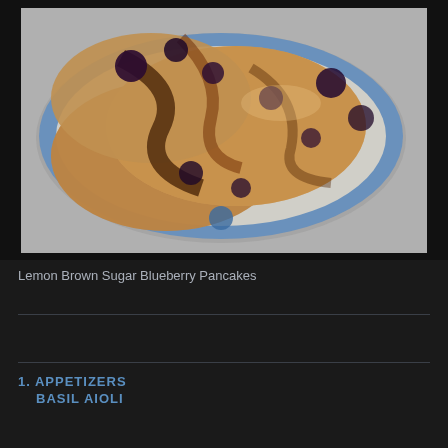[Figure (photo): Overhead photo of blueberry pancakes stacked on a blue plate with syrup, on a light background]
Lemon Brown Sugar Blueberry Pancakes
1. APPETIZERS
BASIL AIOLI